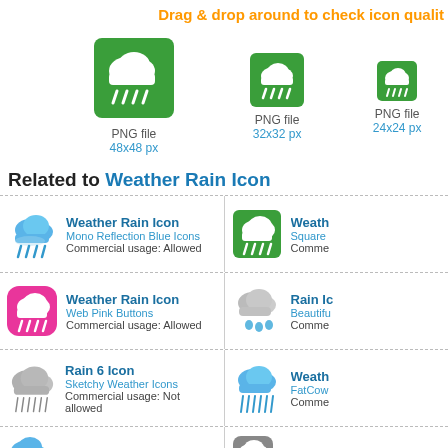Drag & drop around to check icon quality
[Figure (illustration): Weather Rain Icon - PNG file 48x48 px (green background, cloud with rain)]
[Figure (illustration): Weather Rain Icon - PNG file 32x32 px (green background, cloud with rain)]
[Figure (illustration): Weather Rain Icon - PNG file 24x24 px (green background, cloud with rain)]
Related to Weather Rain Icon
Weather Rain Icon | Mono Reflection Blue Icons | Commercial usage: Allowed
Weather (truncated) | Square... | Comme...
Weather Rain Icon | Web Pink Buttons | Commercial usage: Allowed
Rain Ic... | Beautifu... | Comme...
Rain 6 Icon | Sketchy Weather Icons | Commercial usage: Not allowed
Weath... | FatCow... | Comme...
Rain Icon
Weath...